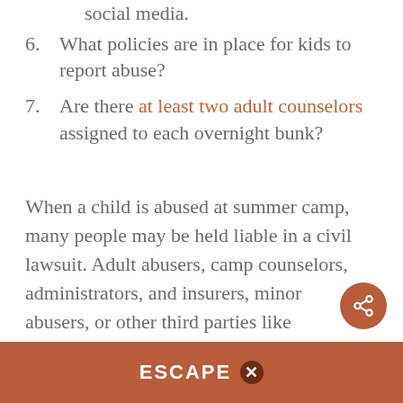social media.
6. What policies are in place for kids to report abuse?
7. Are there at least two adult counselors assigned to each overnight bunk?
When a child is abused at summer camp, many people may be held liable in a civil lawsuit. Adult abusers, camp counselors, administrators, and insurers, minor abusers, or other third parties like
ESCAPE